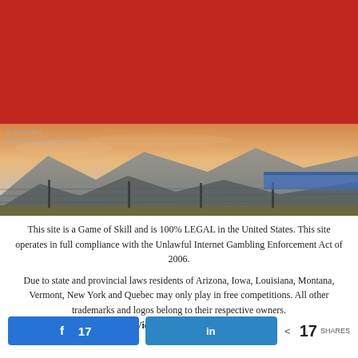[Figure (photo): Red banner background at top of page]
[Figure (photo): Outdoor photo showing mountains at sunset/dusk with a fence/net in foreground, desert landscape]
© 2022 NBVL
DESIGNED BY THEMEBOY
This site is a Game of Skill and is 100% LEGAL in the United States. This site operates in full compliance with the Unlawful Internet Gambling Enforcement Act of 2006.

Due to state and provincial laws residents of Arizona, Iowa, Louisiana, Montana, Vermont, New York and Quebec may only play in free competitions. All other trademarks and logos belong to their respective owners. FanVictor.com Fantasy Sports
17 (Facebook share button) | in (LinkedIn share button) | < 17 SHARES